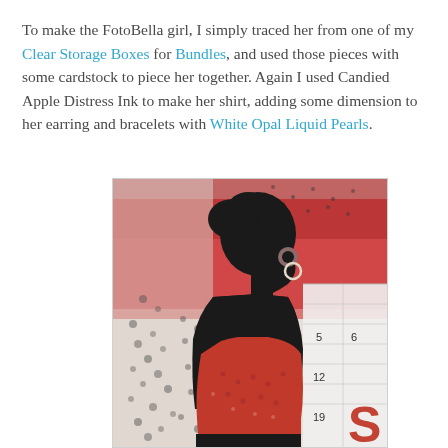To make the FotoBella girl, I simply traced her from one of my Clear Storage Boxes for Bundles, and used those pieces with some cardstock to piece her together. Again I used Candied Apple Distress Ink to make her shirt, adding some dimension to her earring and bracelets with White Opal Liquid Pearls.
[Figure (photo): A mixed media art piece showing a black silhouette of a woman in profile facing left, wearing a red shirt. The background is textured with red, pink, white and grey mixed media elements including dot patterns, calendar fragments showing numbers 5, 6, 12, 19 and a large red letter S. The woman has a circular earring visible.]